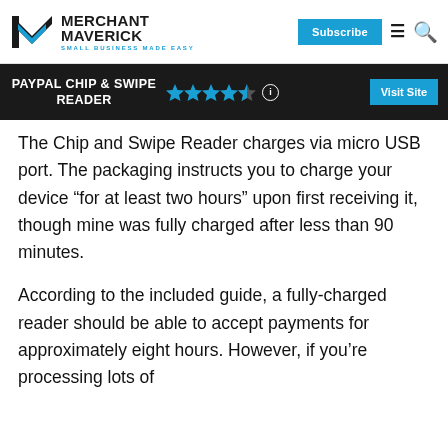MERCHANT MAVERICK — SMALL BUSINESS MADE EASY
PAYPAL CHIP & SWIPE READER
The Chip and Swipe Reader charges via micro USB port. The packaging instructs you to charge your device “for at least two hours” upon first receiving it, though mine was fully charged after less than 90 minutes.
According to the included guide, a fully-charged reader should be able to accept payments for approximately eight hours. However, if you’re processing lots of